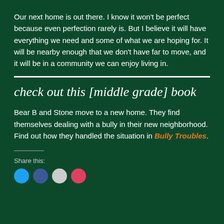Our next home is out there. I know it won't be perfect because even perfection rarely is. But I believe it will have everything we need and some of what we are hoping for. It will be nearby enough that we don't have far to move, and it will be in a community we can enjoy living in.
check out this [middle grade] book
Bear B and Stone move to a new home. They find themselves dealing with a bully in their new neighborhood. Find out how they handled the situation in Bully Troubles.
Share this: